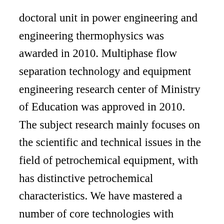doctoral unit in power engineering and engineering thermophysics was awarded in 2010. Multiphase flow separation technology and equipment engineering research center of Ministry of Education was approved in 2010. The subject research mainly focuses on the scientific and technical issues in the field of petrochemical equipment, with has distinctive petrochemical characteristics. We have mastered a number of core technologies with independent intellectual property rights in the direction of multiphase separation theory and technology, process equipment and engineering, and has achieved a number of internationally advanced laboratory